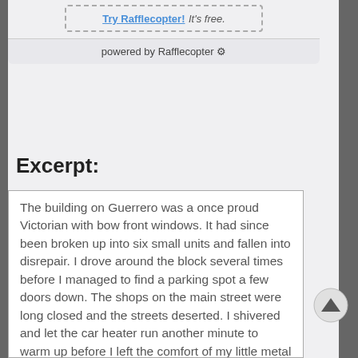[Figure (screenshot): Rafflecopter widget bottom showing 'Try Rafflecopter! It's free.' dashed box and 'powered by Rafflecopter' footer bar]
Excerpt:
The building on Guerrero was a once proud Victorian with bow front windows. It had since been broken up into six small units and fallen into disrepair. I drove around the block several times before I managed to find a parking spot a few doors down. The shops on the main street were long closed and the streets deserted. I shivered and let the car heater run another minute to warm up before I left the comfort of my little metal box. There was something about this place...